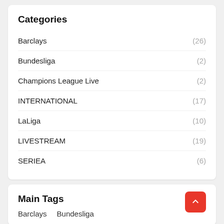Categories
Barclays (26)
Bundesliga (2)
Champions League Live (2)
INTERNATIONAL (17)
LaLiga (10)
LIVESTREAM (19)
SERIEA (6)
Main Tags
Barclays
Bundesliga